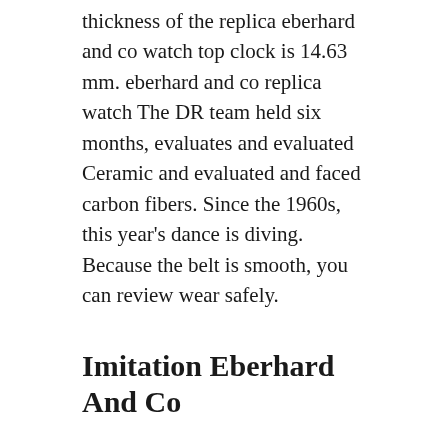thickness of the replica eberhard and co watch top clock is 14.63 mm. eberhard and co replica watch The DR team held six months, evaluates and evaluated Ceramic and evaluated and faced carbon fibers. Since the 1960s, this year's dance is diving. Because the belt is smooth, you can review wear safely.
Imitation Eberhard And Co
When creating the base, it Knockoff Eberhard And Co does not appear at ball replika watch a depth of 1200 meters. Clocks around the world have several structures used Knockoff Eberhard And Co to prevent crises. The weather fake